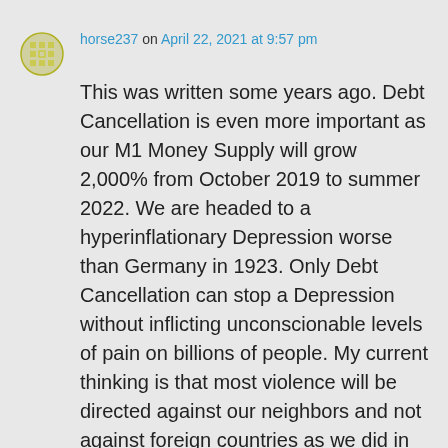horse237 on April 22, 2021 at 9:57 pm
This was written some years ago. Debt Cancellation is even more important as our M1 Money Supply will grow 2,000% from October 2019 to summer 2022. We are headed to a hyperinflationary Depression worse than Germany in 1923. Only Debt Cancellation can stop a Depression without inflicting unconscionable levels of pain on billions of people. My current thinking is that most violence will be directed against our neighbors and not against foreign countries as we did in WW II.
↳ Reply